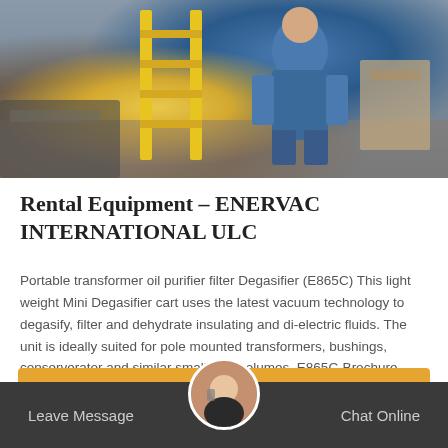[Figure (photo): Worker in blue overalls using equipment near a yellow ladder, industrial setting]
Rental Equipment – ENERVAC INTERNATIONAL ULC
Portable transformer oil purifier filter Degasifier (E865C) This light weight Mini Degasifier cart uses the latest vacuum technology to degasify, filter and dehydrate insulating and di-electric fluids. The unit is ideally suited for pole mounted transformers, bushings, conserverator and similar small fluid volumes. E865C-Brochure 2017
Get Price
Leave Message
Chat Online